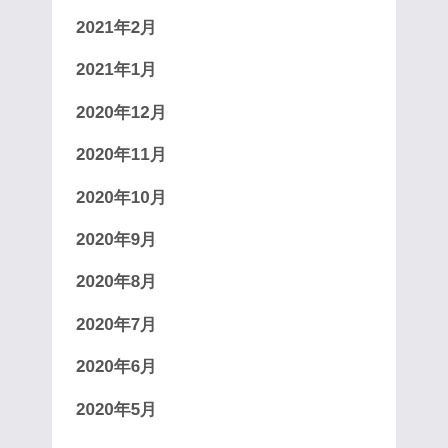2021年2月
2021年1月
2020年12月
2020年11月
2020年10月
2020年9月
2020年8月
2020年7月
2020年6月
2020年5月